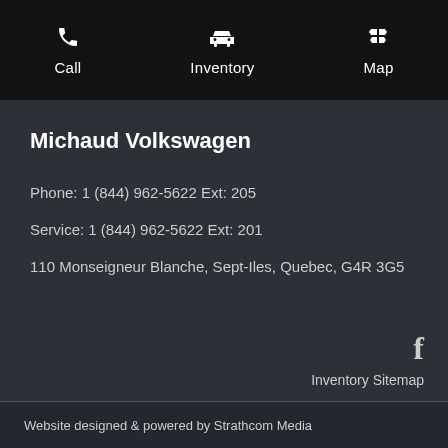Call  Inventory  Map
Michaud Volkswagen
Phone: 1 (844) 962-5622 Ext: 205
Service: 1 (844) 962-5622 Ext: 201
110 Monseigneur Blanche, Sept-Iles, Quebec, G4R 3G5
f
Inventory Sitemap
Website designed & powered by Strathcom Media